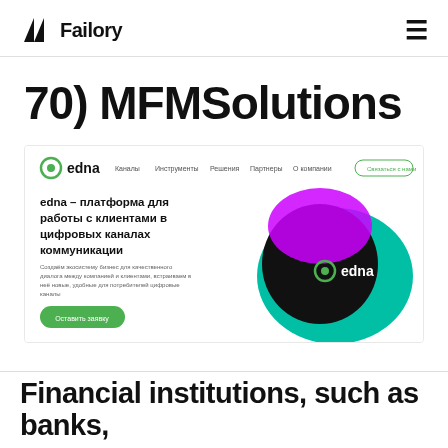Failory
70) MFMSolutions
[Figure (screenshot): Screenshot of the edna website homepage showing the edna logo and navigation menu with Каналы, Инструменты, Решения, Партнеры, О компании links and a button. Below is a hero section with text 'edna – платформа для работы с клиентами в цифровых каналах коммуникации' with a description and a green CTA button 'Оставить заявку'. On the right is a decorative graphic showing overlapping teal, black, and purple shapes with the edna logo in white.]
Financial institutions, such as banks,